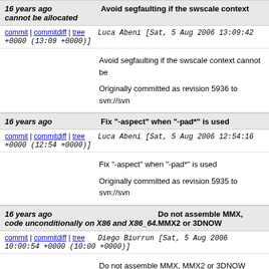16 years ago   Avoid segfaulting if the swscale context cannot be allocated
commit | commitdiff | tree   Luca Abeni [Sat, 5 Aug 2006 13:09:42 +0000 (13:09 +0000)]
Avoid segfaulting if the swscale context cannot be

Originally committed as revision 5936 to svn://svn
16 years ago   Fix "-aspect" when "-pad*" is used
commit | commitdiff | tree   Luca Abeni [Sat, 5 Aug 2006 12:54:16 +0000 (12:54 +0000)]
Fix "-aspect" when "-pad*" is used

Originally committed as revision 5935 to svn://svn
16 years ago   Do not assemble MMX, MMX2 or 3DNOW code unconditionally on X86 and X86_64.
commit | commitdiff | tree   Diego Biurrun [Sat, 5 Aug 2006 10:00:54 +0000 (10:00 +0000)]
Do not assemble MMX, MMX2 or 3DNOW code u

Originally committed as revision 19339 to svn://svn